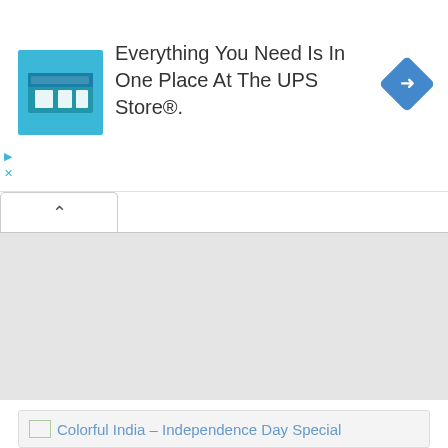[Figure (screenshot): UPS Store advertisement banner with store icon image on left, text 'Everything You Need Is In One Place At The UPS Store®.' in center, and blue diamond navigation icon on right. Small play and X controls at bottom-left.]
[Figure (screenshot): A collapsed tab/accordion UI element with an up-arrow chevron icon, followed by a large gray empty content area block.]
Photo Credit : Mitchell Kanashkevich
[Figure (screenshot): Article thumbnail link showing broken image icon and text 'Colorful India - Independence Day Special' in blue link color on a light gray background.]